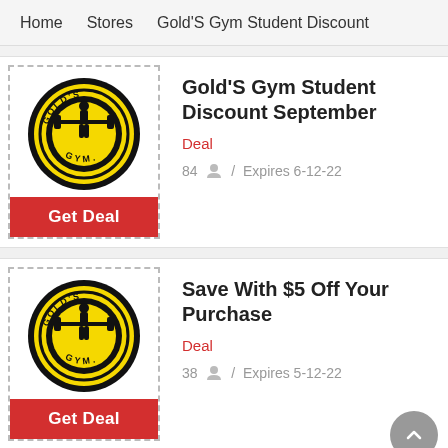Home   Stores   Gold'S Gym Student Discount
[Figure (logo): Gold's Gym circular yellow and black logo with weightlifter silhouette]
Gold'S Gym Student Discount September
Deal
84  /  Expires 6-12-22
[Figure (logo): Gold's Gym circular yellow and black logo with weightlifter silhouette]
Save With $5 Off Your Purchase
Deal
38  /  Expires 5-12-22